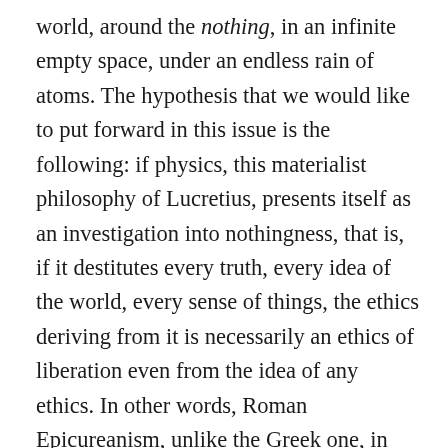world, around the nothing, in an infinite empty space, under an endless rain of atoms. The hypothesis that we would like to put forward in this issue is the following: if physics, this materialist philosophy of Lucretius, presents itself as an investigation into nothingness, that is, if it destitutes every truth, every idea of the world, every sense of things, the ethics deriving from it is necessarily an ethics of liberation even from the idea of any ethics. In other words, Roman Epicureanism, unlike the Greek one, in the context of the crisis of the first century B.C. is presented as a conceptual backlash endowed with a strong